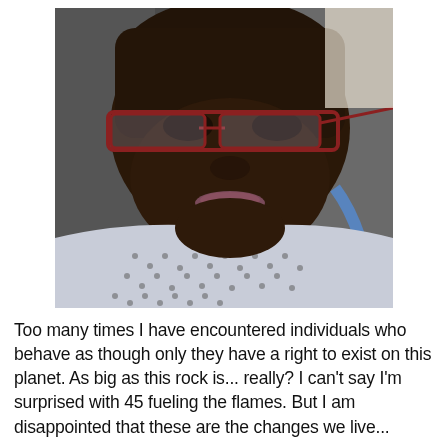[Figure (photo): A selfie photo of a Black woman wearing red-framed glasses and a light blue/gray patterned knit top, taken inside a car. She is looking directly at the camera with a neutral expression.]
Too many times I have encountered individuals who behave as though only they have a right to exist on this planet. As big as this rock is... really? I can't say I'm surprised with 45 fueling the flames. But I am disappointed that these are the changes we live...